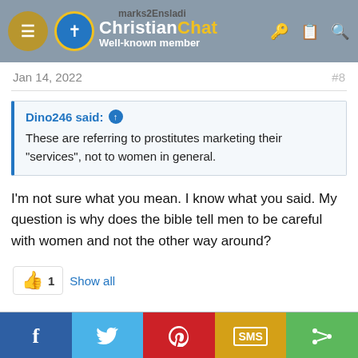ChristianChat — Well-known member
Jan 14, 2022   #8
Dino246 said: ↑
These are referring to prostitutes marketing their "services", not to women in general.
I'm not sure what you mean. I know what you said. My question is why does the bible tell men to be careful with women and not the other way around?
👍 1  Show all
f  Twitter  Pinterest  SMS  Share